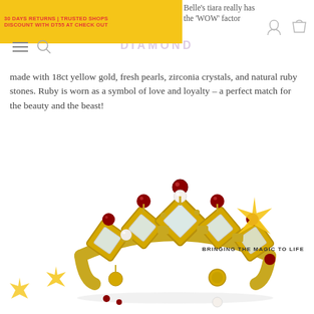30 DAYS RETURNS | TRUSTED SHOPS
DISCOUNT WITH DT55 AT CHECK OUT
Belle's tiara really has the 'WOW' factor
made with 18ct yellow gold, fresh pearls, zirconia crystals, and natural ruby stones. Ruby is worn as a symbol of love and loyalty – a perfect match for the beauty and the beast!
[Figure (photo): A crown/tiara ring made with 18ct yellow gold, featuring diamond-shaped zirconia crystals set in gold, red ruby ball accents on top, and pearl accents. Photographed against white background.]
BRINGING THE MAGIC TO LIFE
[Figure (photo): Bottom thumbnail images of earrings and jewelry pieces in gold, shown partially at bottom of page.]